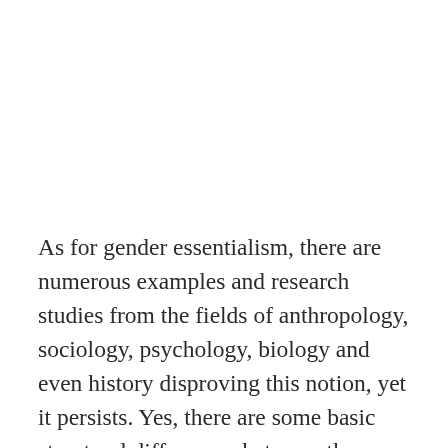As for gender essentialism, there are numerous examples and research studies from the fields of anthropology, sociology, psychology, biology and even history disproving this notion, yet it persists. Yes, there are some basic structural differences between the sexes, but gender roles (how women and men act) are societal dictums; they are created. And, as any student of history